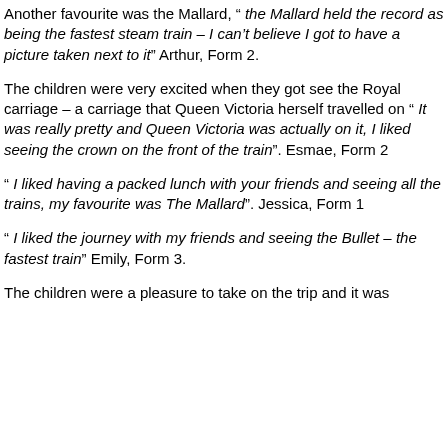Another favourite was the Mallard, " the Mallard held the record as being the fastest steam train – I can't believe I got to have a picture taken next to it" Arthur, Form 2.
The children were very excited when they got see the Royal carriage – a carriage that Queen Victoria herself travelled on " It was really pretty and Queen Victoria was actually on it, I liked seeing the crown on the front of the train". Esmae, Form 2
" I liked having a packed lunch with your friends and seeing all the trains, my favourite was The Mallard". Jessica, Form 1
" I liked the journey with my friends and seeing the Bullet – the fastest train" Emily, Form 3.
The children were a pleasure to take on the trip and it was